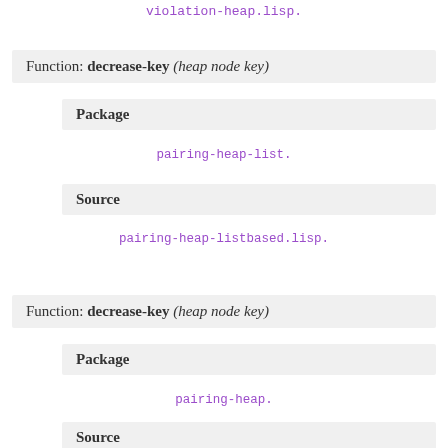violation-heap.lisp.
Function: decrease-key (heap node key)
Package
pairing-heap-list.
Source
pairing-heap-listbased.lisp.
Function: decrease-key (heap node key)
Package
pairing-heap.
Source